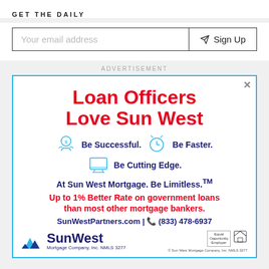GET THE DAILY
Your email address
Sign Up
ADVERTISEMENT
[Figure (illustration): Sun West Mortgage advertisement. Headline: Loan Officers Love Sun West. Icons with text: Be Successful. Be Faster. Be Cutting Edge. Tagline: At Sun West Mortgage. Be Limitless.™ Up to 1% Better Rate on government loans than most other mortgage bankers. Contact: SunWestPartners.com | (833) 478-6937. Sun West logo. Equal Housing logo. © Sun West Mortgage Company, Inc. NMLS 3277.]